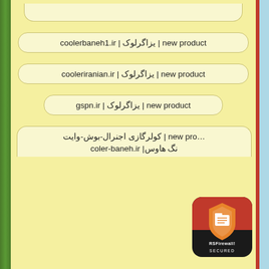coolerbaneh1.ir | کولرگازی | new product
cooleriranian.ir | کولرگازی | new product
gspn.ir | کولرگازی | new product
new pro... | کولرگازی اجنرال-بوش-وایت | coler-baneh.ir |نگ هاوس
(partial bottom entry)
[Figure (logo): RSFirewall! SECURED badge - dark rounded square with orange shield icon]